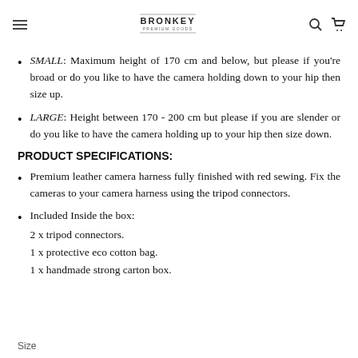BRONKEY PREMIUM GOODS
SMALL: Maximum height of 170 cm and below, but please if you're broad or do you like to have the camera holding down to your hip then size up.
LARGE: Height between 170 - 200 cm but please if you are slender or do you like to have the camera holding up to your hip then size down.
PRODUCT SPECIFICATIONS:
Premium leather camera harness fully finished with red sewing. Fix the cameras to your camera harness using the tripod connectors.
Included Inside the box:
2 x tripod connectors.
1 x protective eco cotton bag.
1 x handmade strong carton box.
Size